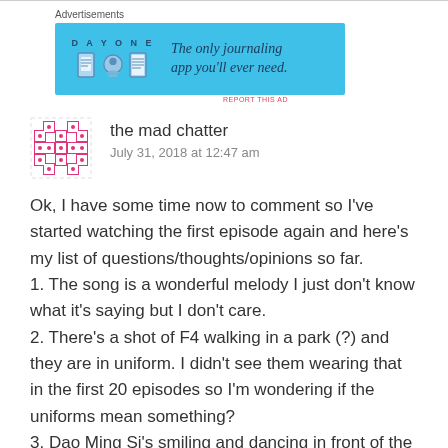[Figure (other): Advertisement banner for Day One journaling app with blue background, app icons, and text 'The only journaling app you'll ever need.']
the mad chatter
July 31, 2018 at 12:47 am
Ok, I have some time now to comment so I've started watching the first episode again and here's my list of questions/thoughts/opinions so far.
1. The song is a wonderful melody I just don't know what it's saying but I don't care.
2. There's a shot of F4 walking in a park (?) and they are in uniform. I didn't see them wearing that in the first 20 episodes so I'm wondering if the uniforms mean something?
3. Dao Ming Si's smiling and dancing in front of the mirror is a